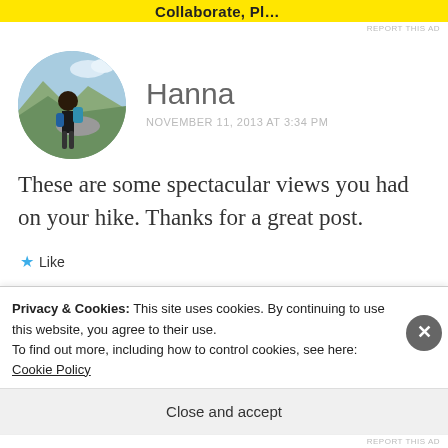[Figure (screenshot): Yellow advertisement banner strip at top of page]
REPORT THIS AD
[Figure (photo): Circular avatar photo of a person hiking outdoors with mountains and sky in the background]
Hanna
NOVEMBER 11, 2013 AT 3:34 PM
These are some spectacular views you had on your hike. Thanks for a great post.
★ Like
Privacy & Cookies: This site uses cookies. By continuing to use this website, you agree to their use.
To find out more, including how to control cookies, see here: Cookie Policy
Close and accept
REPORT THIS AD